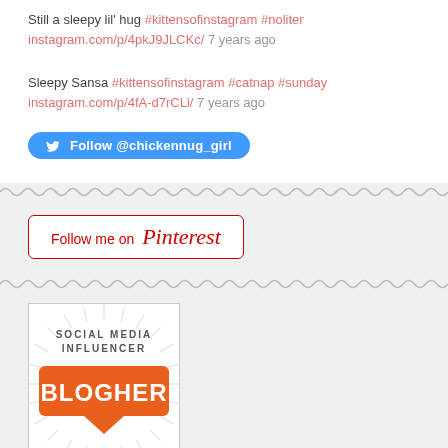Still a sleepy lil' hug #kittensofinstagram #noliter instagram.com/p/4pkJ9JLCKc/ 7 years ago
Sleepy Sansa #kittensofinstagram #catnap #sunday instagram.com/p/4fA-d7rCLi/ 7 years ago
[Figure (other): Twitter follow button: Follow @chickennug_girl]
[Figure (other): Pinterest follow button: Follow me on Pinterest]
[Figure (other): BlogHer Social Media Influencer badge with sunburst design and orange speech bubble]